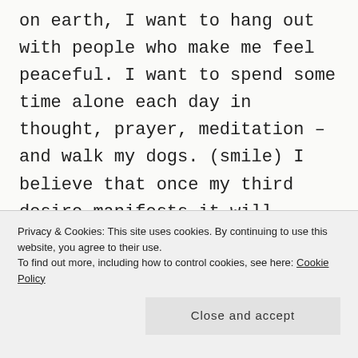on earth, I want to hang out with people who make me feel peaceful. I want to spend some time alone each day in thought, prayer, meditation – and walk my dogs. (smile) I believe that once my third desire manifests it will automatically fulfill the second one.

When I talk or write about deep things like, spirituality and living a naturally healthy life – I
Privacy & Cookies: This site uses cookies. By continuing to use this website, you agree to their use.
To find out more, including how to control cookies, see here: Cookie Policy
Close and accept